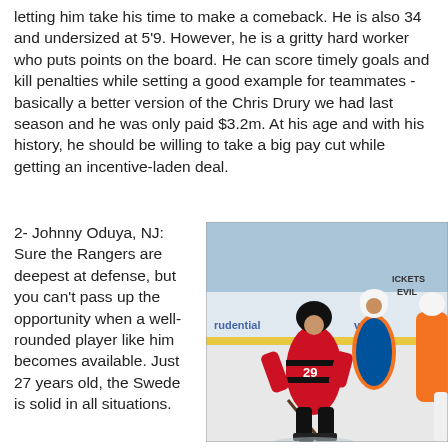letting him take his time to make a comeback. He is also 34 and undersized at 5'9. However, he is a gritty hard worker who puts points on the board. He can score timely goals and kill penalties while setting a good example for teammates - basically a better version of the Chris Drury we had last season and he was only paid $3.2m. At his age and with his history, he should be willing to take a big pay cut while getting an incentive-laden deal.
2- Johnny Oduya, NJ: Sure the Rangers are deepest at defense, but you can't pass up the opportunity when a well-rounded player like him becomes available. Just 27 years old, the Swede is solid in all situations.
[Figure (photo): Hockey player wearing New Jersey Devils red jersey number 29 skating with the puck on ice, with opponent players in blue/orange uniforms behind. Background shows arena boards with partial text 'rudential', 've', 'ICKETS', 'EVIL'.]